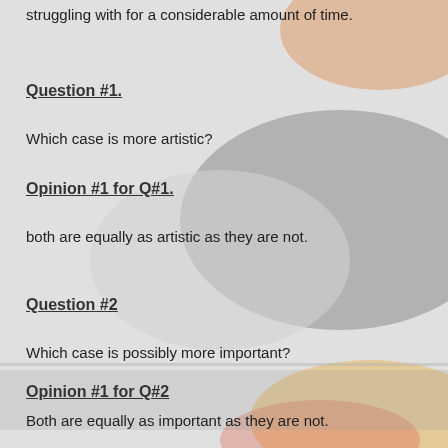struggling with for a considerable amount of time.
Question #1.
Which case is more artistic?
Opinion #1 for Q#1.
both are equally as artistic as they are not.
Question #2
Which case is possibly more important?
Opinion #1 for Q#2
Both are equally as important as they are not.